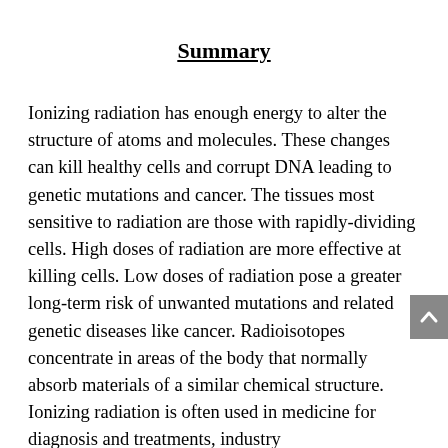Summary
Ionizing radiation has enough energy to alter the structure of atoms and molecules.  These changes can kill healthy cells and corrupt DNA leading to genetic mutations and cancer.  The tissues most sensitive to radiation are those with rapidly-dividing cells.  High doses of radiation are more effective at killing cells.  Low doses of radiation pose a greater long-term risk of unwanted mutations and related genetic diseases like cancer.  Radioisotopes concentrate in areas of the body that normally absorb materials of a similar chemical structure.  Ionizing radiation is often used in medicine for diagnosis and treatments, industry